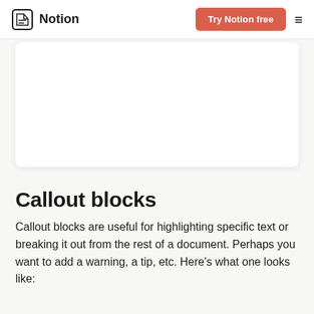Notion — Try Notion free
[Figure (screenshot): White card/image area showing a blank white rectangle with rounded corners and subtle shadow, on a light gray background.]
Callout blocks
Callout blocks are useful for highlighting specific text or breaking it out from the rest of a document. Perhaps you want to add a warning, a tip, etc. Here's what one looks like: